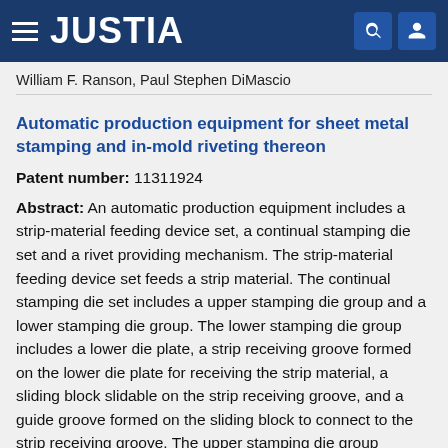JUSTIA
William F. Ranson, Paul Stephen DiMascio
Automatic production equipment for sheet metal stamping and in-mold riveting thereon
Patent number: 11311924
Abstract: An automatic production equipment includes a strip-material feeding device set, a continual stamping die set and a rivet providing mechanism. The strip-material feeding device set feeds a strip material. The continual stamping die set includes a upper stamping die group and a lower stamping die group. The lower stamping die group includes a lower die plate, a strip receiving groove formed on the lower die plate for receiving the strip material, a sliding block slidable on the strip receiving groove, and a guide groove formed on the sliding block to connect to the strip receiving groove. The upper stamping die group includes an